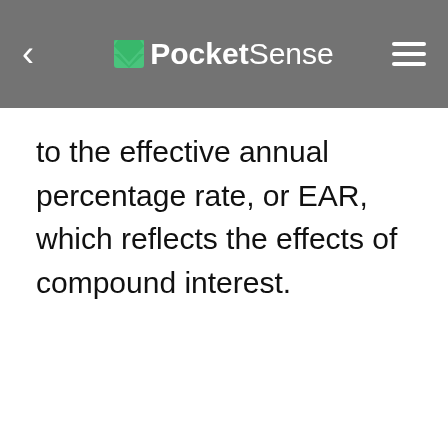PocketSense
to the effective annual percentage rate, or EAR, which reflects the effects of compound interest.